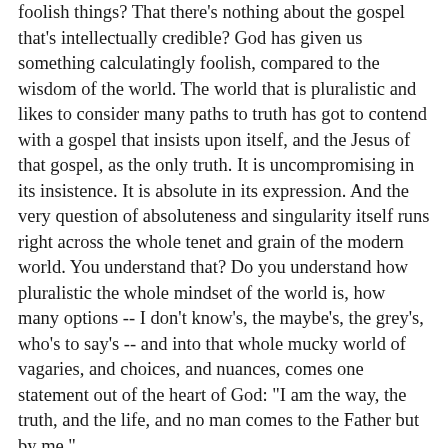foolish things? That there's nothing about the gospel that's intellectually credible? God has given us something calculatingly foolish, compared to the wisdom of the world. The world that is pluralistic and likes to consider many paths to truth has got to contend with a gospel that insists upon itself, and the Jesus of that gospel, as the only truth. It is uncompromising in its insistence. It is absolute in its expression. And the very question of absoluteness and singularity itself runs right across the whole tenet and grain of the modern world. You understand that? Do you understand how pluralistic the whole mindset of the world is, how many options -- I don't know's, the maybe's, the grey's, who's to say's -- and into that whole mucky world of vagaries, and choices, and nuances, comes one statement out of the heart of God: "I am the way, the truth, and the life, and no man comes to the Father but by me."
If I hear anything from my Jewish kinsmen in